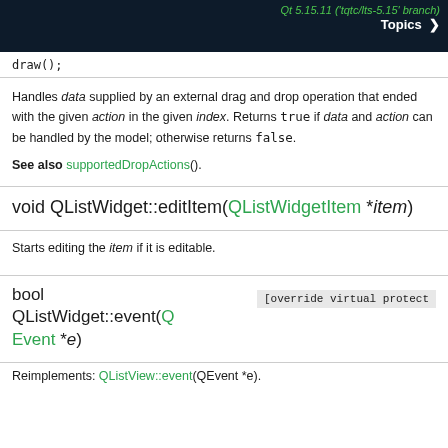Qt 5.15.11 ('tqtc/lts-5.15' branch) Topics >
draw();
Handles data supplied by an external drag and drop operation that ended with the given action in the given index. Returns true if data and action can be handled by the model; otherwise returns false.
See also supportedDropActions().
void QListWidget::editItem(QListWidgetItem *item)
Starts editing the item if it is editable.
bool QListWidget::event(QEvent *e)
[override virtual protected]
Reimplements: QListView::event(QEvent *e).